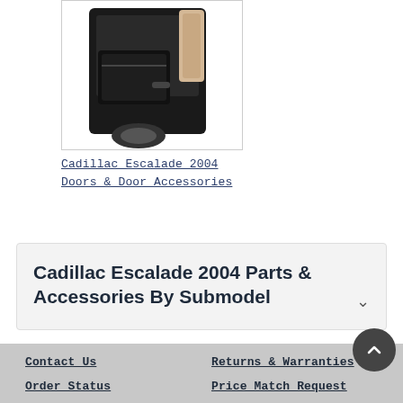[Figure (photo): Product photo of a Cadillac Escalade 2004 door accessory (door storage bag/pocket) shown on a vehicle door, black in color.]
Cadillac Escalade 2004 Doors & Door Accessories
Cadillac Escalade 2004 Parts & Accessories By Submodel
Contact Us   Returns & Warranties   Order Status   Price Match Request